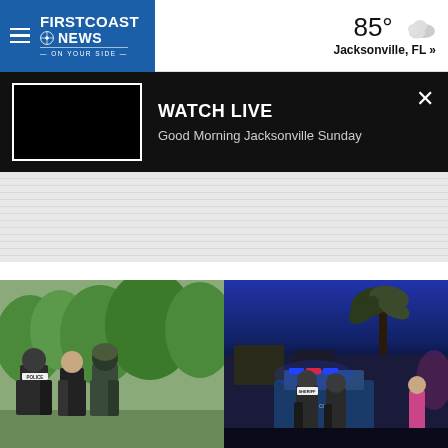First Coast News — 85° Jacksonville, FL »
WATCH LIVE — Good Morning Jacksonville Sunday
[Figure (photo): Gray striped advertisement placeholder area]
[Figure (photo): Left photo: Law enforcement officer escorting a person outdoors during daytime, trees in background. Right photo: Sheriff's deputies and law enforcement at night scene with police car lights, palm tree in background.]